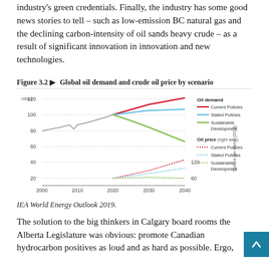industry's green credentials. Finally, the industry has some good news stories to tell – such as low-emission BC natural gas and the declining carbon-intensity of oil sands heavy crude – as a result of significant innovation in innovation and new technologies.
Figure 3.2 ▶  Global oil demand and crude oil price by scenario
[Figure (line-chart): Global oil demand and crude oil price by scenario]
IEA World Energy Outlook 2019.
The solution to the big thinkers in Calgary board rooms the Alberta Legislature was obvious: promote Canadian hydrocarbon positives as loud and as hard as possible. Ergo,